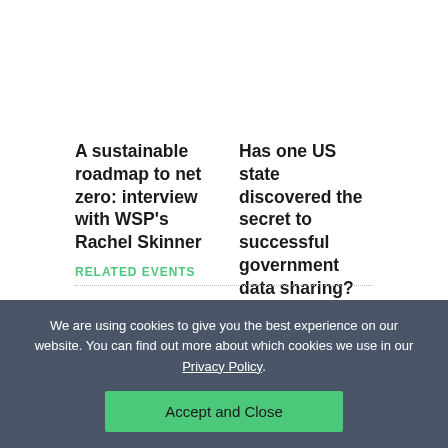A sustainable roadmap to net zero: interview with WSP's Rachel Skinner
Has one US state discovered the secret to successful government data sharing?
RELATED EVENTS
We are using cookies to give you the best experience on our website. You can find out more about which cookies we use in our Privacy Policy.
Accept and Close